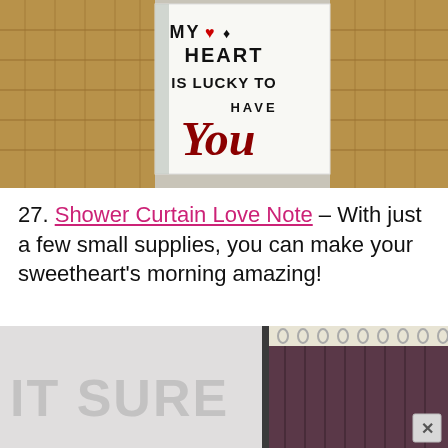[Figure (photo): Photo of a greeting card with card suits and text reading 'MY HEART IS LUCKY TO HAVE You' leaning on a wicker basket]
27. Shower Curtain Love Note – With just a few small supplies, you can make your sweetheart's morning amazing!
[Figure (photo): Two photos side by side: left shows a white shower curtain with large letters, right shows a dark purple/maroon shower curtain with rings on a rod, with a close/X button overlay]